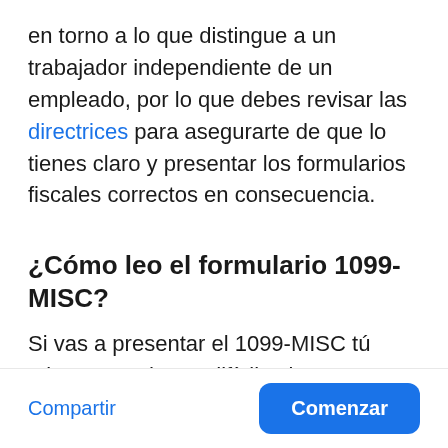en torno a lo que distingue a un trabajador independiente de un empleado, por lo que debes revisar las directrices para asegurarte de que lo tienes claro y presentar los formularios fiscales correctos en consecuencia.
¿Cómo leo el formulario 1099-MISC?
Si vas a presentar el 1099-MISC tú mismo, puede ser difícil saber por [dónde empezar — continúa fuera de la pantalla]
Compartir  Comenzar